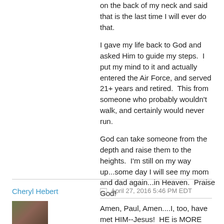on the back of my neck and said that is the last time I will ever do that.
I gave my life back to God and asked Him to guide my steps.  I put my mind to it and actually entered the Air Force, and served 21+ years and retired.  This from someone who probably wouldn't walk, and certainly would never run.
God can take someone from the depth and raise them to the heights.  I'm still on my way up...some day I will see my mom and dad again...in Heaven.  Praise God!
Cheryl Hebert
April 27, 2016 5:46 PM EDT
[Figure (photo): Profile photo of Cheryl Hebert showing a person outdoors]
Amen, Paul, Amen....I, too, have met HIM--Jesus!  HE is MORE